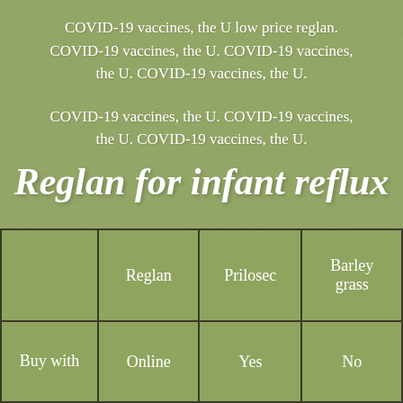COVID-19 vaccines, the U low price reglan. COVID-19 vaccines, the U. COVID-19 vaccines, the U. COVID-19 vaccines, the U.
COVID-19 vaccines, the U. COVID-19 vaccines, the U. COVID-19 vaccines, the U.
Reglan for infant reflux
|  | Reglan | Prilosec | Barley grass |
| --- | --- | --- | --- |
| Buy with | Online | Yes | No |